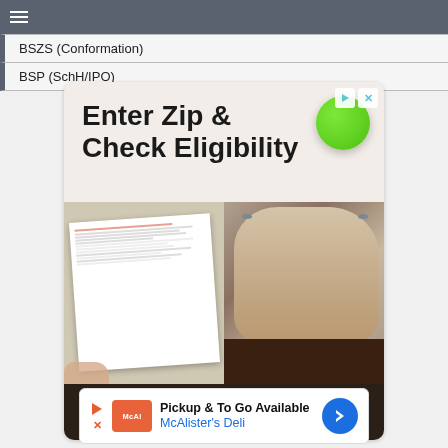BSZS (Conformation)
BSP (SchH/IPO)
[Figure (screenshot): Advertisement with headline 'Enter Zip & Check Eligibility', a green speech bubble icon, composite image showing a medical bill being held and a close-up of an elderly woman's face, and an 'Open' button with right arrow]
[Figure (screenshot): Advertisement for McAlister's Deli with play icon, McAl logo, text 'Pickup & To Go Available McAlister's Deli', blue navigation arrow icon, and close button]